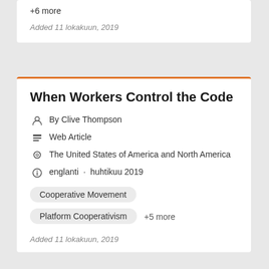+6 more
Added 11 lokakuun, 2019
When Workers Control the Code
By Clive Thompson
Web Article
The United States of America and North America
englanti · huhtikuu 2019
Cooperative Movement
Platform Cooperativism
+5 more
Added 11 lokakuun, 2019